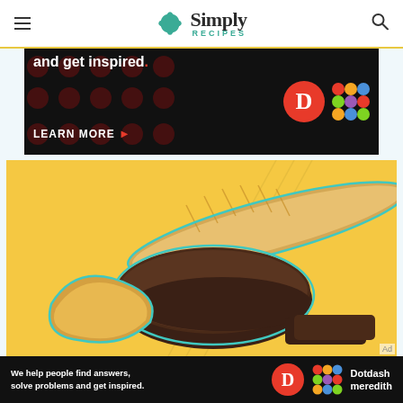Simply Recipes
[Figure (photo): Advertisement banner: dark background with red polka dots, text 'and get inspired.' with red period, LEARN MORE button with red arrow, D logo and Dotdash Meredith logo on right]
[Figure (photo): Yellow background photo showing various breads: a baguette, a sliced dark rye loaf, and a croissant, with teal outlines around them]
[Figure (photo): Bottom advertisement banner: 'We help people find answers, solve problems and get inspired.' with Dotdash Meredith logo]